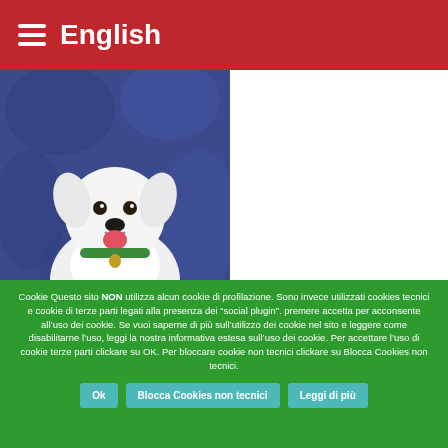English
[Figure (photo): White fluffy puppy sitting against a blue textured background, wearing a green collar, mouth open and tongue out]
Cookie Questo sito NON utilizza alcun cookie di profilazione. Sono invece utilizzati cookies tecnici e cookie di terze parti legati alla presenza dei “social plugin”. premere accetta per acconsente all’uso dei cookie. Se vuoi saperne di più sull’utilizzo dei cookie nel sito e leggere come disabilitarne l’uso, leggi la nostra informativa estesa sull’uso dei cookie. Per accettare l’uso di cookie terze parti clickare su OK. Per bloccare cookie non tecnici clickare su Blocca Cookies non tecnici.
Ok
Blocca Cookies non tecnici
Leggi di più